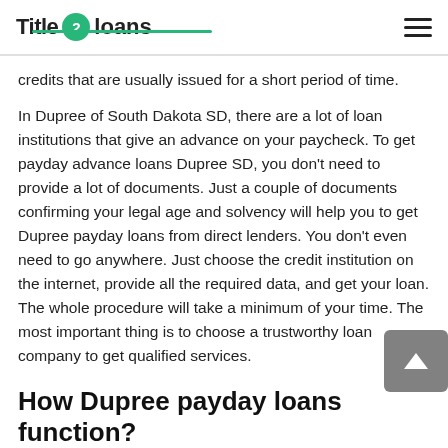Title 2 loans
credits that are usually issued for a short period of time.
In Dupree of South Dakota SD, there are a lot of loan institutions that give an advance on your paycheck. To get payday advance loans Dupree SD, you don't need to provide a lot of documents. Just a couple of documents confirming your legal age and solvency will help you to get Dupree payday loans from direct lenders. You don't even need to go anywhere. Just choose the credit institution on the internet, provide all the required data, and get your loan. The whole procedure will take a minimum of your time. The most important thing is to choose a trustworthy loan company to get qualified services.
How Dupree payday loans function?
It's not difficult to obtain the Dupree payday loans on your